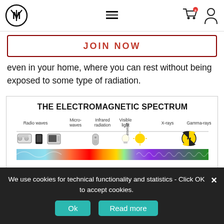Navigation header with logo, hamburger menu, cart and user icons
JOIN NOW
even in your home, where you can rest without being exposed to some type of radiation.
[Figure (infographic): The Electromagnetic Spectrum diagram showing Radio waves, Microwaves, Infrared radiation, Visible light, Ultraviolet, X-rays, and Gamma-rays with corresponding icons and a spectrum wave band]
We use cookies for technical functionality and statistics - Click OK to accept cookies.
Some electromagnetic... abundance of